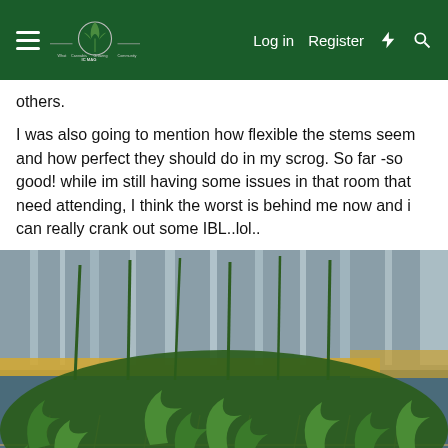IC Mag — Log in  Register
others.
I was also going to mention how flexible the stems seem and how perfect they should do in my scrog. So far -so good! while im still having some issues in that room that need attending, I think the worst is behind me now and i can really crank out some IBL..lol..
[Figure (photo): Indoor cannabis grow room with plants trained under a SCROG (Screen of Green) net, silver mylar reflective walls visible in the background, and bright grow lights illuminating the canopy.]